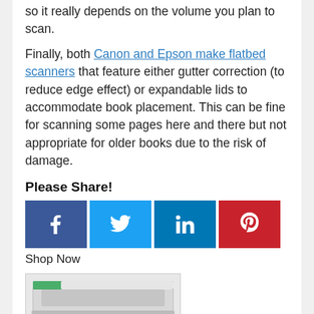so it really depends on the volume you plan to scan.
Finally, both Canon and Epson make flatbed scanners that feature either gutter correction (to reduce edge effect) or expandable lids to accommodate book placement. This can be fine for scanning some pages here and there but not appropriate for older books due to the risk of damage.
Please Share!
[Figure (infographic): Social sharing buttons: Facebook (dark blue, f icon), Twitter (light blue, bird icon), LinkedIn (medium blue, in icon), Pinterest (red, P icon)]
Shop Now
[Figure (photo): Scanner product image at bottom of page]